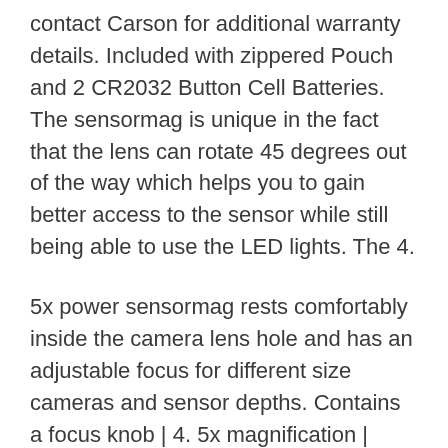contact Carson for additional warranty details. Included with zippered Pouch and 2 CR2032 Button Cell Batteries. The sensormag is unique in the fact that the lens can rotate 45 degrees out of the way which helps you to gain better access to the sensor while still being able to use the LED lights. The 4.
5x power sensormag rests comfortably inside the camera lens hole and has an adjustable focus for different size cameras and sensor depths. Contains a focus knob | 4. 5x magnification | 30mm Lens Diameter. There are two different diameter settings to fit most camera bodies. The 6 bright white